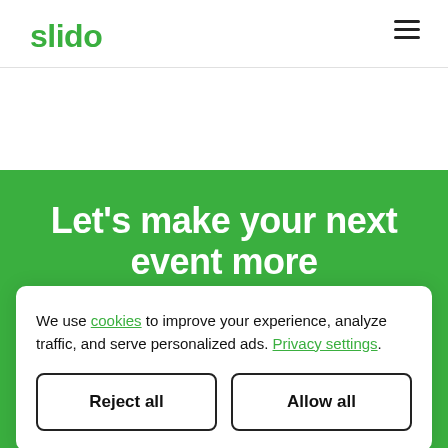slido
Let's make your next event more
We use cookies to improve your experience, analyze traffic, and serve personalized ads. Privacy settings.
Reject all
Allow all